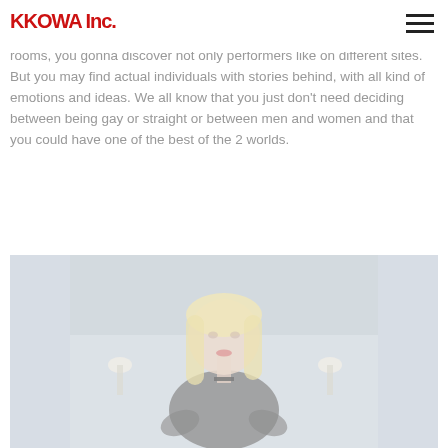KKOWA Inc.
factor is bound this site is made for individuals need to discover sex companions and who wish to make friends for all times. On these chat rooms, you gonna discover not only performers like on different sites. But you may find actual individuals with stories behind, with all kind of emotions and ideas. We all know that you just don't need deciding between being gay or straight or between men and women and that you could have one of the best of the 2 worlds.
[Figure (photo): A blonde woman wearing a black outfit, seated in what appears to be a bedroom setting with soft lighting. The image has a washed-out, light-overlay appearance.]